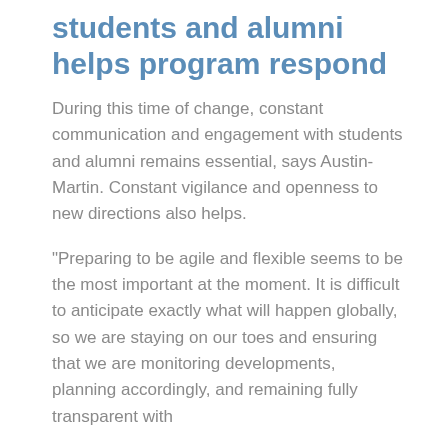students and alumni helps program respond
During this time of change, constant communication and engagement with students and alumni remains essential, says Austin-Martin. Constant vigilance and openness to new directions also helps.
“Preparing to be agile and flexible seems to be the most important at the moment. It is difficult to anticipate exactly what will happen globally, so we are staying on our toes and ensuring that we are monitoring developments, planning accordingly, and remaining fully transparent with